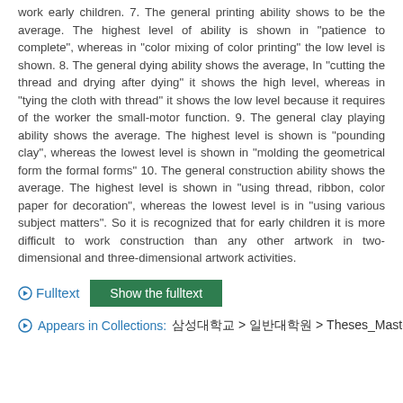work early children. 7. The general printing ability shows to be the average. The highest level of ability is shown in "patience to complete", whereas in "color mixing of color printing" the low level is shown. 8. The general dying ability shows the average, In "cutting the thread and drying after dying" it shows the high level, whereas in "tying the cloth with thread" it shows the low level because it requires of the worker the small-motor function. 9. The general clay playing ability shows the average. The highest level is shown is "pounding clay", whereas the lowest level is shown in "molding the geometrical form the formal forms" 10. The general construction ability shows the average. The highest level is shown in "using thread, ribbon, color paper for decoration", whereas the lowest level is in "using various subject matters". So it is recognized that for early children it is more difficult to work construction than any other artwork in two-dimensional and three-dimensional artwork activities.
Fulltext  Show the fulltext
Appears in Collections:  [Korean characters] > [Korean characters] > Theses_Master